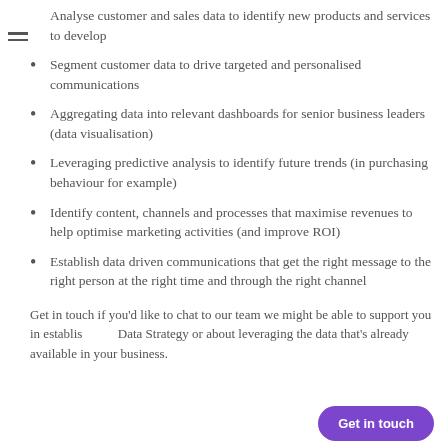Analyse customer and sales data to identify new products and services to develop
Segment customer data to drive targeted and personalised communications
Aggregating data into relevant dashboards for senior business leaders (data visualisation)
Leveraging predictive analysis to identify future trends (in purchasing behaviour for example)
Identify content, channels and processes that maximise revenues to help optimise marketing activities (and improve ROI)
Establish data driven communications that get the right message to the right person at the right time and through the right channel
Get in touch if you'd like to chat to our team we might be able to support you in establishing a Data Strategy or about leveraging the data that's already available in your business.